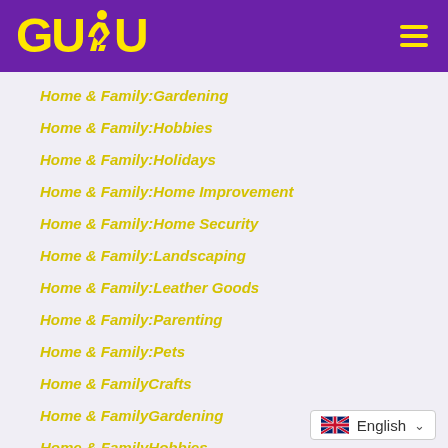[Figure (logo): GUDU logo with yellow running figure silhouette on purple header background]
Home & Family:Gardening
Home & Family:Hobbies
Home & Family:Holidays
Home & Family:Home Improvement
Home & Family:Home Security
Home & Family:Landscaping
Home & Family:Leather Goods
Home & Family:Parenting
Home & Family:Pets
Home & FamilyCrafts
Home & FamilyGardening
Home & FamilyHobbies